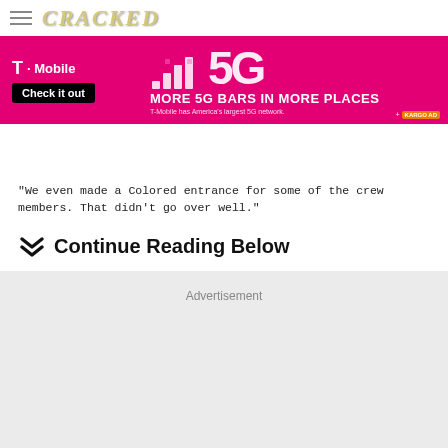[Figure (screenshot): Cracked.com website header with hamburger menu and CRACKED logo]
[Figure (screenshot): T-Mobile advertisement banner: MORE 5G BARS IN MORE PLACES. T-Mobile has America's largest 5G network. Check it out button. Kargo Ad label.]
"We even made a Colored entrance for some of the crew members. That didn't go over well."
❯❯ Continue Reading Below
Advertisement